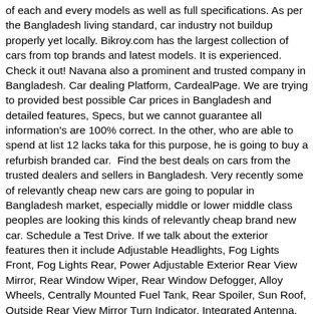of each and every models as well as full specifications. As per the Bangladesh living standard, car industry not buildup properly yet locally. Bikroy.com has the largest collection of cars from top brands and latest models. It is experienced. Check it out! Navana also a prominent and trusted company in Bangladesh. Car dealing Platform, CardealPage. We are trying to provided best possible Car prices in Bangladesh and detailed features, Specs, but we cannot guarantee all information's are 100% correct. In the other, who are able to spend at list 12 lacks taka for this purpose, he is going to buy a refurbish branded car.  Find the best deals on cars from the trusted dealers and sellers in Bangladesh. Very recently some of relevantly cheap new cars are going to popular in Bangladesh market, especially middle or lower middle class peoples are looking this kinds of relevantly cheap brand new car. Schedule a Test Drive. If we talk about the exterior features then it include Adjustable Headlights, Fog Lights Front, Fog Lights Rear, Power Adjustable Exterior Rear View Mirror, Rear Window Wiper, Rear Window Defogger, Alloy Wheels, Centrally Mounted Fuel Tank, Rear Spoiler, Sun Roof, Outside Rear View Mirror Turn Indicator, Integrated Antenna, Chrome Grille, Roof Rail and Remote Fuel Lid Opener. Store is a car accessories online shop in BD, Selling various kind of car interior decoration products, Polish & Ceramic Coating. #PakWheels is back with yet another owner's review episode. Thirdly local rural roads are not suitable for a car. On road price of DESK Glory i-Auto starts from